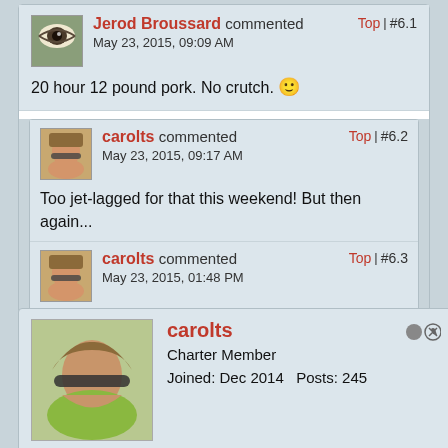Jerod Broussard commented | Top | #6.1 | May 23, 2015, 09:09 AM
20 hour 12 pound pork. No crutch. 🙂
carolts commented | Top | #6.2 | May 23, 2015, 09:17 AM
Too jet-lagged for that this weekend! But then again...
carolts commented | Top | #6.3 | May 23, 2015, 01:48 PM
The boys wanted smoked meatloaf, so meatloaf it is!
carolts | Charter Member | Joined: Dec 2014 | Posts: 245